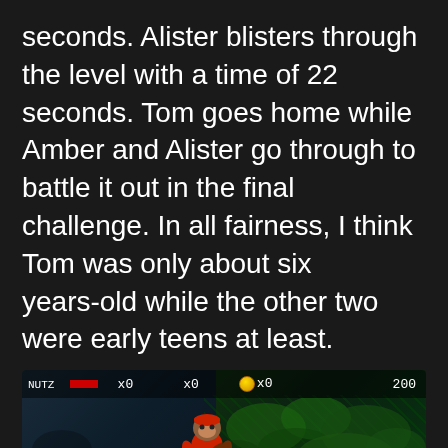seconds. Alister blisters through the level with a time of 22 seconds. Tom goes home while Amber and Alister go through to battle it out in the final challenge. In all fairness, I think Tom was only about six years-old while the other two were early teens at least.
[Figure (screenshot): A screenshot of a Donkey Kong Country style platform video game. The HUD shows 'NUTZ x0', 'x0', a coin icon 'x0', and '200' in the top bar with a red life indicator. The scene shows a character mid-air on the left side against a dark blue-teal cave background, with green jungle foliage on the right. Two purple spherical objects rest on the green ground at the bottom. A large circular ring/portal appears in the bottom center-right area.]